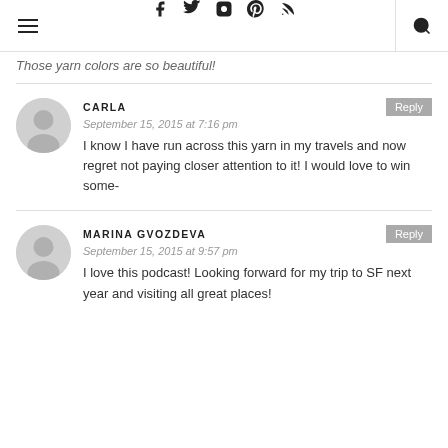Navigation header with menu, social icons, and search
Those yarn colors are so beautiful!
CARLA
September 15, 2015 at 7:16 pm
I know I have run across this yarn in my travels and now regret not paying closer attention to it! I would love to win some-
MARINA GVOZDEVA
September 15, 2015 at 9:57 pm
I love this podcast! Looking forward for my trip to SF next year and visiting all great places!